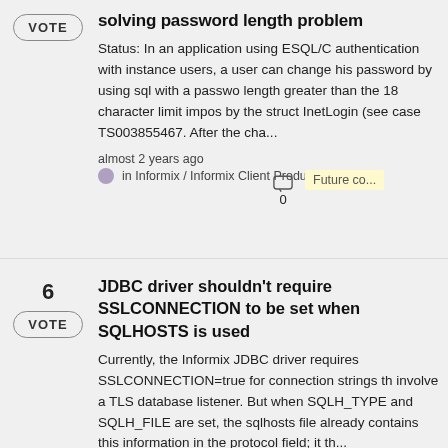solving password length problem
Status: In an application using ESQL/C authentication with instance users, a user can change his password by using sql with a password length greater than the 18 character limit imposed by the struct InetLogin (see case TS003855467). After the cha...
almost 2 years ago in Informix / Informix Client Products
Future co... 0
JDBC driver shouldn't require SSLCONNECTION to be set when SQLHOSTS is used
Currently, the Informix JDBC driver requires SSLCONNECTION=true for connection strings that involve a TLS database listener. But when SQLH_TYPE and SQLH_FILE are set, the sqlhosts file already contains this information in the protocol field; it th...